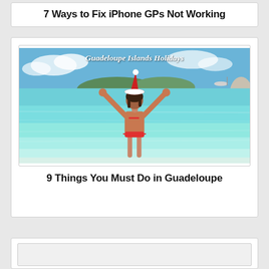7 Ways to Fix iPhone GPs Not Working
[Figure (photo): Beach photo showing woman in red bikini and Santa hat standing in clear turquoise water with arms raised, with text overlay 'Guadeloupe Islands Holidays']
9 Things You Must Do in Guadeloupe
[Figure (photo): Partially visible card with image placeholder at bottom of page]